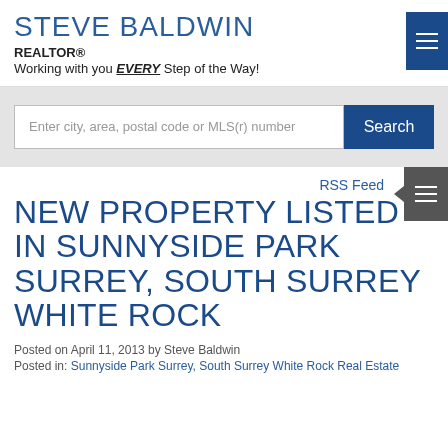STEVE BALDWIN
REALTOR®
Working with you EVERY Step of the Way!
[Figure (other): Blue hamburger menu button in top right corner]
[Figure (screenshot): Search bar with placeholder text 'Enter city, area, postal code or MLS(r) number' and a blue Search button]
RSS Feed
NEW PROPERTY LISTED IN SUNNYSIDE PARK SURREY, SOUTH SURREY WHITE ROCK
Posted on April 11, 2013 by Steve Baldwin
Posted in: Sunnyside Park Surrey, South Surrey White Rock Real Estate